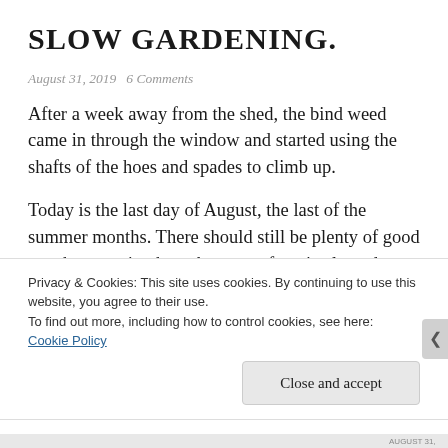SLOW GARDENING.
August 31, 2019   6 Comments
After a week away from the shed, the bind weed came in through the window and started using the shafts of the hoes and spades to climb up.
Today is the last day of August, the last of the summer months. There should still be plenty of good weather to enjoy here, but part of me is pleased to slow down as the frantic pace of a
Privacy & Cookies: This site uses cookies. By continuing to use this website, you agree to their use.
To find out more, including how to control cookies, see here:
Cookie Policy
Close and accept